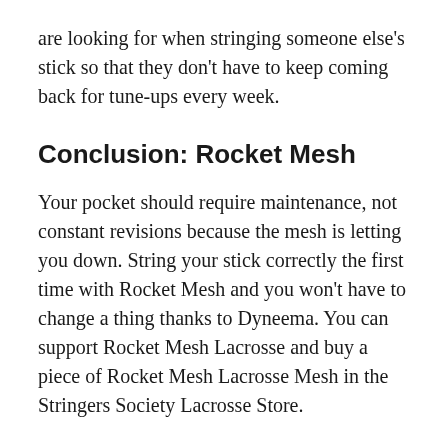are looking for when stringing someone else's stick so that they don't have to keep coming back for tune-ups every week.
Conclusion: Rocket Mesh
Your pocket should require maintenance, not constant revisions because the mesh is letting you down. String your stick correctly the first time with Rocket Mesh and you won't have to change a thing thanks to Dyneema. You can support Rocket Mesh Lacrosse and buy a piece of Rocket Mesh Lacrosse Mesh in the Stringers Society Lacrosse Store.